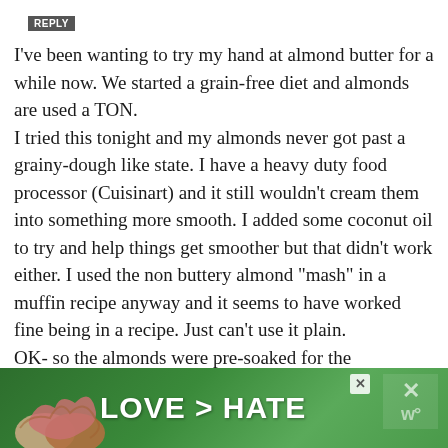REPLY
I've been wanting to try my hand at almond butter for a while now. We started a grain-free diet and almonds are used a TON.
I tried this tonight and my almonds never got past a grainy-dough like state. I have a heavy duty food processor (Cuisinart) and it still wouldn't cream them into something more smooth. I added some coconut oil to try and help things get smoother but that didn't work either. I used the non buttery almond "mash" in a muffin recipe anyway and it seems to have worked fine being in a recipe. Just can't use it plain.
OK- so the almonds were pre-soaked for the
[Figure (photo): Advertisement banner with green background showing hands making a heart shape, with text 'LOVE > HATE' in large white bold letters and a close button]